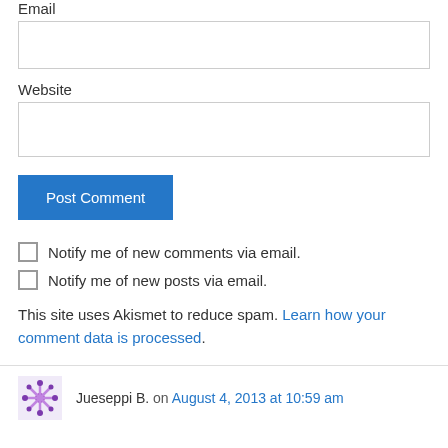Email
Website
Post Comment
Notify me of new comments via email.
Notify me of new posts via email.
This site uses Akismet to reduce spam. Learn how your comment data is processed.
Jueseppi B. on August 4, 2013 at 10:59 am